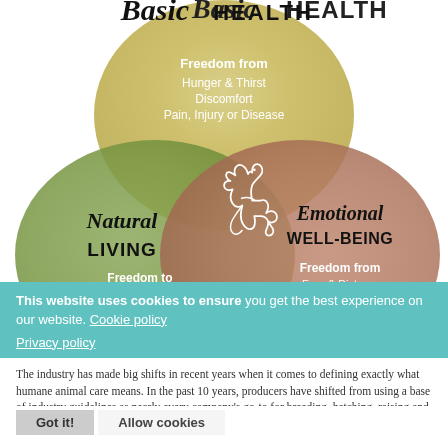[Figure (infographic): Three overlapping circles (Venn diagram) representing Basic Health (yellow/wood-grain, top center), Natural Living (green, bottom left), and Emotional Well-Being (terracotta/brown, bottom right), with a white line-art chicken in the center. Each circle contains text: Basic Health - Freedom from Hunger & Thirst, Discomfort, Pain Injury or Disease; Natural Living - Freedom to Express Natural Behavior; Emotional Well-Being - Freedom from Fear & Distress.]
This website uses cookies to ensure you get the best experience on our website. Cookie policy Privacy policy
The industry has made big shifts in recent years when it comes to defining exactly what humane animal care means. In the past 10 years, producers have shifted from using a base of industry guidelines as nearly every company's go-to for breeding, hatching, raising and